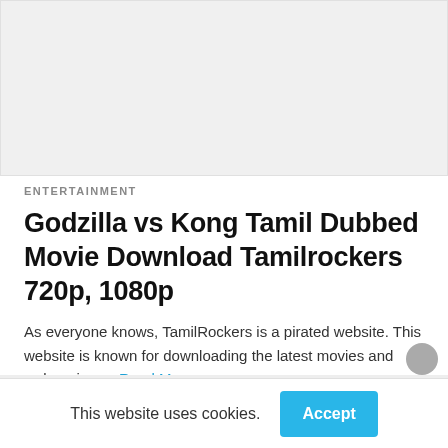[Figure (photo): Placeholder image area for article thumbnail]
ENTERTAINMENT
Godzilla vs Kong Tamil Dubbed Movie Download Tamilrockers 720p, 1080p
As everyone knows, TamilRockers is a pirated website. This website is known for downloading the latest movies and web series,… Read More
11 mins ago
This website uses cookies.